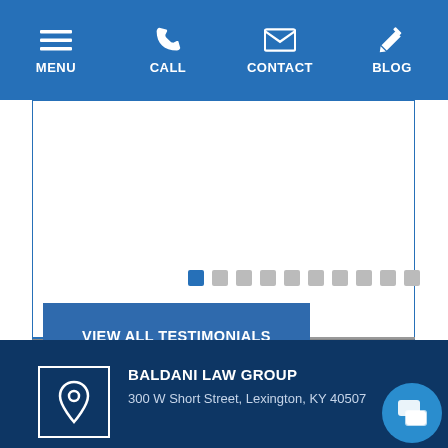MENU  CALL  CONTACT  BLOG
[Figure (screenshot): Testimonials slider carousel with dot pagination indicators]
VIEW ALL TESTIMONIALS
BALDANI LAW GROUP
300 W Short Street, Lexington, KY 40507